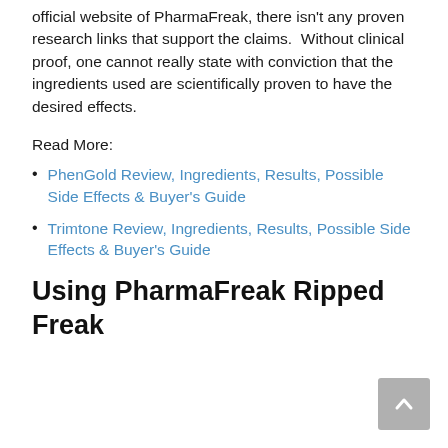official website of PharmaFreak, there isn't any proven research links that support the claims.  Without clinical proof, one cannot really state with conviction that the ingredients used are scientifically proven to have the desired effects.
Read More:
PhenGold Review, Ingredients, Results, Possible Side Effects & Buyer's Guide
Trimtone Review, Ingredients, Results, Possible Side Effects & Buyer's Guide
Using PharmaFreak Ripped Freak